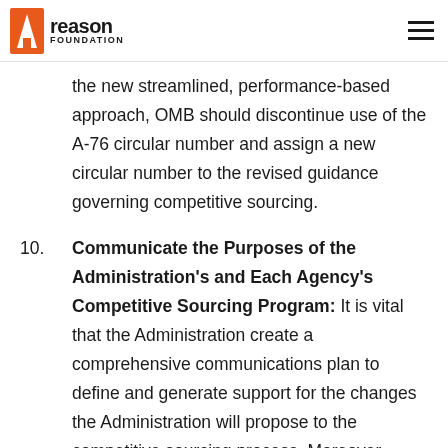Reason Foundation
the new streamlined, performance-based approach, OMB should discontinue use of the A-76 circular number and assign a new circular number to the revised guidance governing competitive sourcing.
10. Communicate the Purposes of the Administration's and Each Agency's Competitive Sourcing Program: It is vital that the Administration create a comprehensive communications plan to define and generate support for the changes the Administration will propose to the competitive sourcing process. Moreover, senior officials in each agency should be